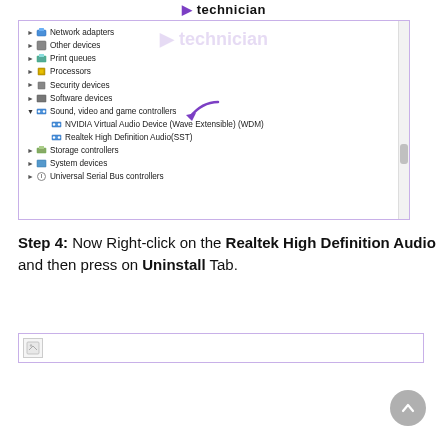technician
[Figure (screenshot): Windows Device Manager showing expanded tree with Network adapters, Other devices, Print queues, Processors, Security devices, Software devices, Sound video and game controllers (expanded showing NVIDIA Virtual Audio Device (Wave Extensible) (WDM) and Realtek High Definition Audio(SST)), Storage controllers, System devices, Universal Serial Bus controllers. A purple arrow points to Sound video and game controllers.]
Step 4: Now Right-click on the Realtek High Definition Audio and then press on Uninstall Tab.
[Figure (screenshot): Partial screenshot showing the beginning of the next step's image with a broken image icon visible.]